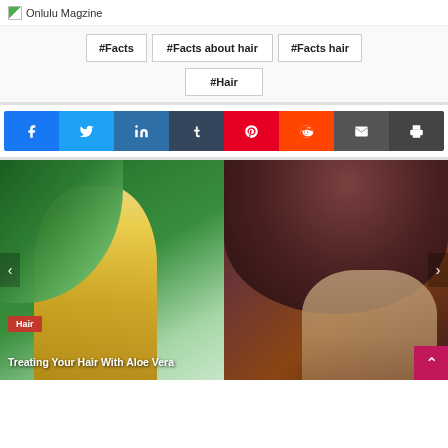Onlulu Magzine
#Facts
#Facts about hair
#Facts hair
#Hair
[Figure (other): Social share bar with icons for Facebook, Twitter, LinkedIn, Tumblr, Pinterest, Reddit, Email, and Print]
[Figure (photo): Left card: photo of blonde hair with aloe vera green leaves background]
Hair
Treating Your Hair With Aloe Vera
[Figure (photo): Right card: close-up photo of dark brown hair with a person's face partially visible at the bottom right]